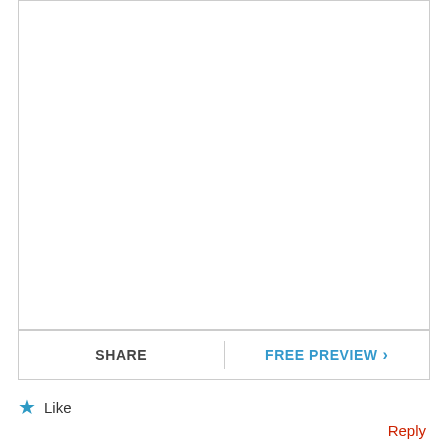[Figure (other): Empty white content box with border, representing a document preview area]
SHARE
FREE PREVIEW >
★ Like
Reply